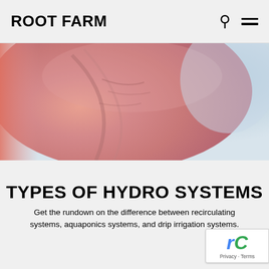ROOT FARM
[Figure (photo): Close-up macro photo of a plant root or vegetable surface, pinkish/salmon tones with soft blue background, fills banner area]
TYPES OF HYDRO SYSTEMS
Get the rundown on the difference between recirculating systems, aquaponics systems, and drip irrigation systems.